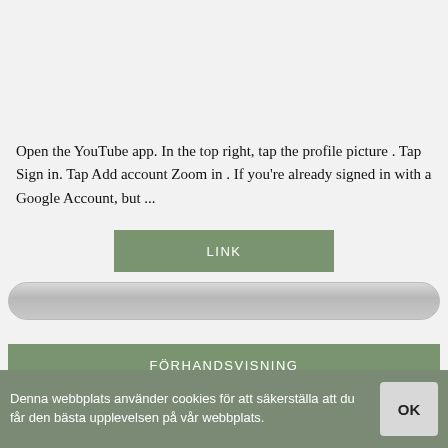Open the YouTube app. In the top right, tap the profile picture . Tap Sign in. Tap Add account Zoom in . If you're already signed in with a Google Account, but ...
LINK
[Figure (screenshot): A rounded input bar / text field element]
FÖRHANDSVISNING
CREATE AN ACCOUNT ON YOUTUBE
Denna webbplats använder cookies för att säkerställa att du får den bästa upplevelsen på vår webbplats.
OK